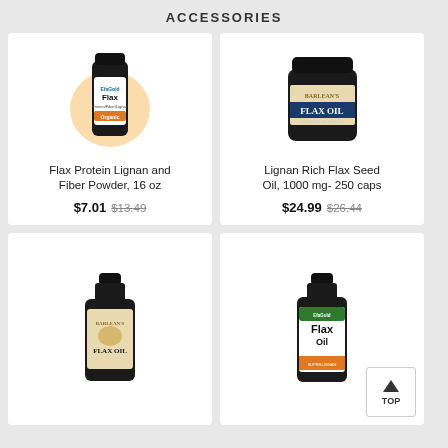ACCESSORIES
[Figure (photo): EfaGold Flax Protein Lignan and Fiber Powder bottle, 16 oz, with orange glow background]
Flax Protein Lignan and Fiber Powder, 16 oz
$7.01 $13.49
[Figure (photo): Barlean's Lignan Rich Flax Seed Oil dark bottle, 1000 mg 250 caps]
Lignan Rich Flax Seed Oil, 1000 mg- 250 caps
$24.99 $26.44
[Figure (photo): Barlean's Flax Oil bottle (dark, liquid)]
[Figure (photo): EfaGold Flax Oil bottle]